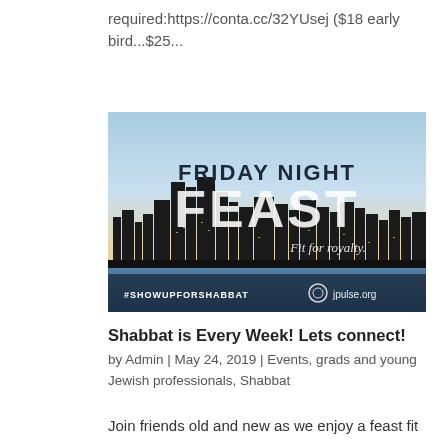required:https://conta.cc/32YUsej ($18 early bird...$25...
[Figure (photo): A city skyline at dusk/night with text overlay reading 'FRIDAY NIGHT FEAST' and 'Fit for royalty.' and '#SHOWUPFORSHABBAT jpulse.org' at the bottom]
Shabbat is Every Week! Lets connect!
by Admin | May 24, 2019 | Events, grads and young Jewish professionals, Shabbat
Join friends old and new as we enjoy a feast fit